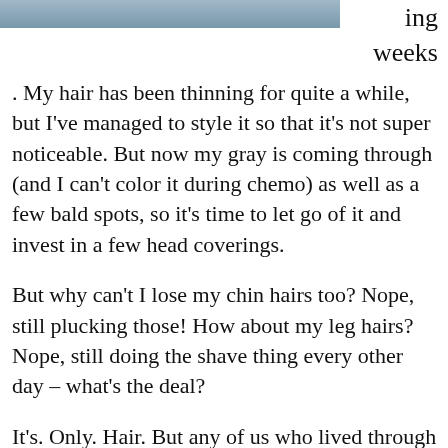[Figure (photo): Partial photo strip at top of page, showing a blue-gray sky or background image, cropped.]
ing
weeks
.  My hair has been thinning for quite a while, but I've managed to style it so that it's not super noticeable.  But now my gray is coming through (and I can't color it during chemo) as well as a few bald spots, so it's time to let go of it and invest in a few head coverings.

But why can't I lose my chin hairs too?  Nope, still plucking those!  How about my leg hairs?  Nope, still doing the shave thing every other day – what's the deal?

It's. Only. Hair.  But any of us who lived through the 80s and had that big hair, got perms every